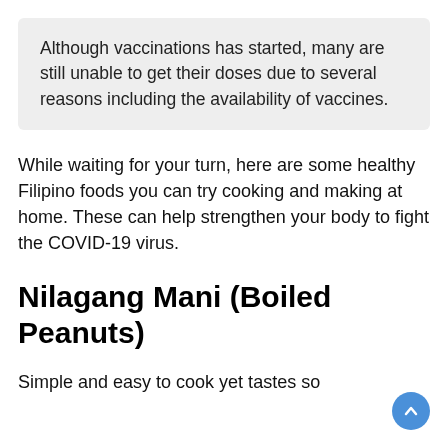Although vaccinations has started, many are still unable to get their doses due to several reasons including the availability of vaccines.
While waiting for your turn, here are some healthy Filipino foods you can try cooking and making at home. These can help strengthen your body to fight the COVID-19 virus.
Nilagang Mani (Boiled Peanuts)
Simple and easy to cook yet tastes so